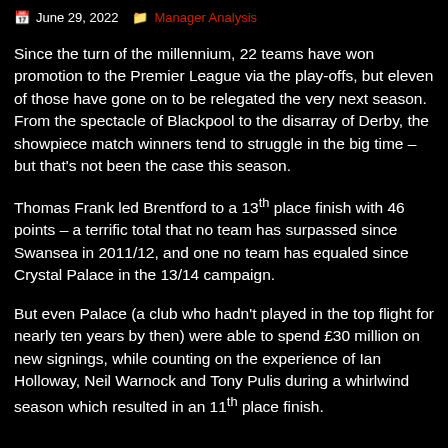June 29, 2022   Manager Analysis
Since the turn of the millennium, 22 teams have won promotion to the Premier League via the play-offs, but eleven of those have gone on to be relegated the very next season. From the spectacle of Blackpool to the disarray of Derby, the showpiece match winners tend to struggle in the big time – but that's not been the case this season.
Thomas Frank led Brentford to a 13th place finish with 46 points – a terrific total that no team has surpassed since Swansea in 2011/12, and one no team has equaled since Crystal Palace in the 13/14 campaign.
But even Palace (a club who hadn't played in the top flight for nearly ten years by then) were able to spend £30 million on new signings, while counting on the experience of Ian Holloway, Neil Warnock and Tony Pulis during a whirlwind season which resulted in an 11th place finish.